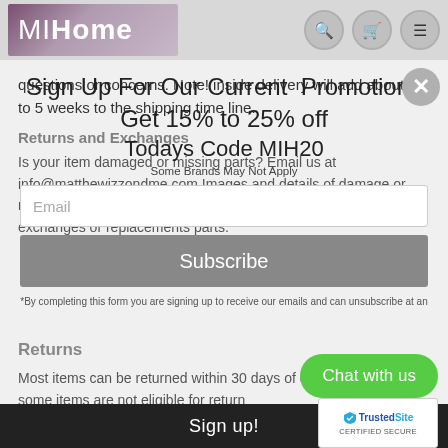[Figure (screenshot): MIHome website header with logo and navigation icons (search, cart, menu)]
questions or concerns. Note! inside delivery will add about 3 to 5 weeks to the shipping time line.
Returns and Exchanges
Is your item damaged or missing parts? Email us at info@matthewizzondme.com Images and details of damage or missing parts include the order number and we will assist you with exchanges or replacements parts.
Returns
Most items can be returned within 30 days of delivery; however, some items are not eligible for return
We'll refund
[Figure (screenshot): Popup modal overlaid on page: Sign Up For Our Current Promotions, Get 15% to 25% off, Todays Code MIH20, Some Brands May Not Apply, Email input, Subscribe button, legal text]
[Figure (screenshot): Chat with us green button in bottom right]
[Figure (logo): TrustedSite Certified Secure badge]
Sign up!